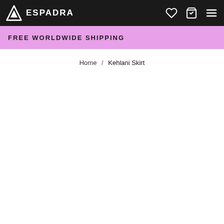ESPADRA
FREE WORLDWIDE SHIPPING
Home / Kehlani Skirt